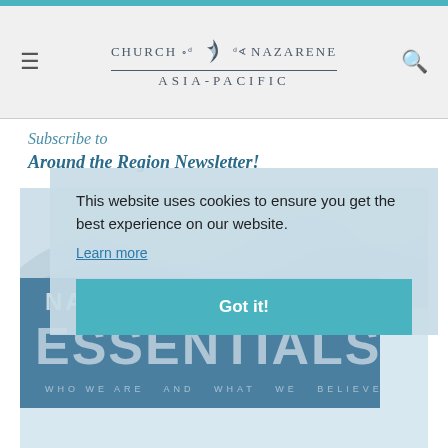Church of the Nazarene Asia-Pacific
Subscribe to
Around the Region Newsletter!
[Figure (screenshot): Book cover or promotional image with teal/blue background showing 'NAZARENE ESSENTIALS' text and subtitle 'WHO WE ARE AND WHAT WE BELIEVE' with mountain imagery]
This website uses cookies to ensure you get the best experience on our website.
Learn more
Got it!